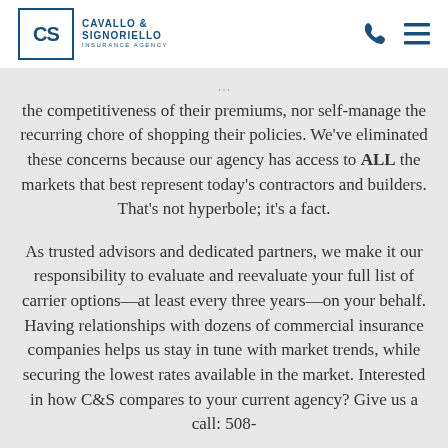Cavallo & Signoriello Insurance Agency
the competitiveness of their premiums, nor self-manage the recurring chore of shopping their policies. We've eliminated these concerns because our agency has access to ALL the markets that best represent today's contractors and builders. That's not hyperbole; it's a fact.
As trusted advisors and dedicated partners, we make it our responsibility to evaluate and reevaluate your full list of carrier options—at least every three years—on your behalf. Having relationships with dozens of commercial insurance companies helps us stay in tune with market trends, while securing the lowest rates available in the market. Interested in how C&S compares to your current agency? Give us a call: 508-